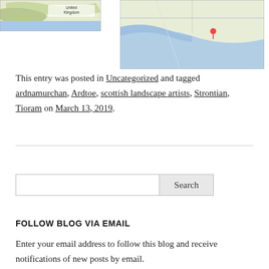[Figure (map): Partial map thumbnail showing United Kingdom label]
[Figure (map): Detailed map showing a river estuary area with a red location pin marker]
This entry was posted in Uncategorized and tagged ardnamurchan, Ardtoe, scottish landscape artists, Strontian, Tioram on March 13, 2019.
[Figure (other): Horizontal rule divider]
[Figure (other): Search input box with Search button]
FOLLOW BLOG VIA EMAIL
Enter your email address to follow this blog and receive notifications of new posts by email.